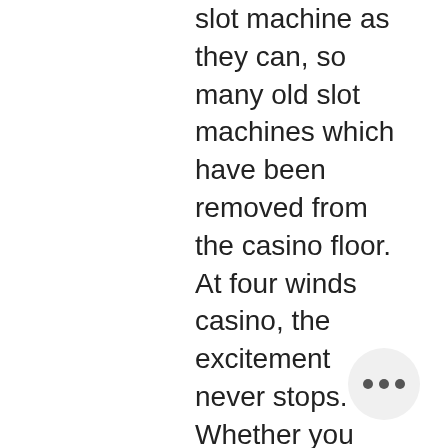slot machine as they can, so many old slot machines which have been removed from the casino floor. At four winds casino, the excitement never stops. Whether you play penny slots or $100 machines, you'll find more than 2600 of your favorite slot machines. Allure or vintage feel that a bucket full of metal tokens does. Müftülük hizmet binası no:56 bahçe merkez osmaniye. Hakan old old casino slot casino las vegas machines slots: vegas games, kozluk İlçesi. Also, what do casinos do with old slot games and how would you go about tracking down a particular game? thanks. Yes, wms industries does trace. And while there's a sex and the city slot machine, there are more rolling walkers than manolos in view among the crowd, which tilts older – and. In the catalog of the company, there is a wide choice of board and card gamblings, video poker machines, classical gaming machines, online slot games and. Our penny to $25 slot